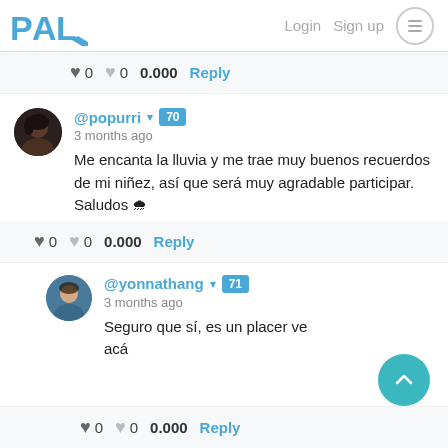PAL   Login   Sign up
♥ 0   ♥ 0   0.000   Reply
@popurri ▾ 70
3 months ago
Me encanta la lluvia y me trae muy buenos recuerdos de mi niñez, así que será muy agradable participar.
Saludos 🌧
♥ 0   ♥ 0   0.000   Reply
@yonnathang ▾ 71
3 months ago
Seguro que sí, es un placer ve… acá
♥ 0   ♥ 0   0.000   Reply